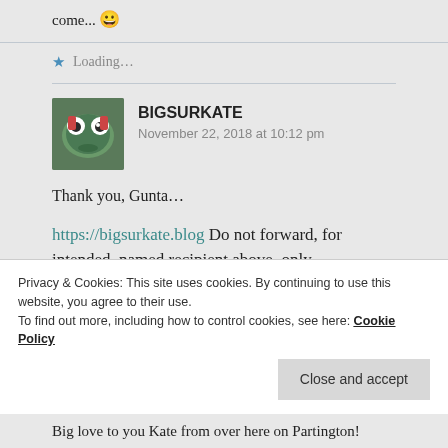come... 😀
★ Loading...
BIGSURKATE
November 22, 2018 at 10:12 pm
Thank you, Gunta...
https://bigsurkate.blog Do not forward, for intended, named recipient above, only.
Privacy & Cookies: This site uses cookies. By continuing to use this website, you agree to their use.
To find out more, including how to control cookies, see here: Cookie Policy
Close and accept
Big love to you Kate from over here on Partington!